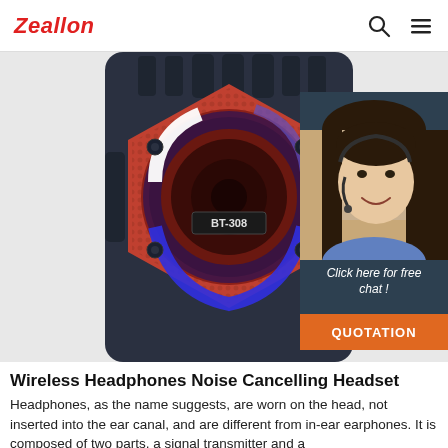Zeallon
[Figure (photo): Bluetooth speaker BT-308 with red hexagonal grille, glowing LED ring light in blue and white, on dark body. Overlay chat widget on right: '24/7 Online', smiling woman with headset, 'Click here for free chat!', orange QUOTATION button.]
Wireless Headphones Noise Cancelling Headset
Headphones, as the name suggests, are worn on the head, not inserted into the ear canal, and are different from in-ear earphones. It is composed of two parts, a signal transmitter and a